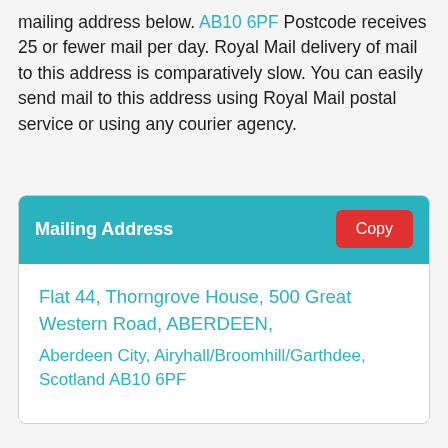mailing address below. AB10 6PF Postcode receives 25 or fewer mail per day. Royal Mail delivery of mail to this address is comparatively slow. You can easily send mail to this address using Royal Mail postal service or using any courier agency.
Mailing Address
Flat 44, Thorngrove House, 500 Great Western Road, ABERDEEN, Aberdeen City, Airyhall/Broomhill/Garthdee, Scotland AB10 6PF